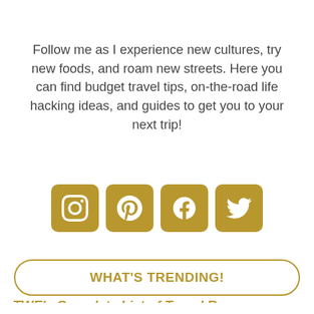Follow me as I experience new cultures, try new foods, and roam new streets. Here you can find budget travel tips, on-the-road life hacking ideas, and guides to get you to your next trip!
[Figure (infographic): Four golden social media icon buttons: Instagram, Pinterest, Facebook, Twitter]
WHAT'S TRENDING!
TWE's Complete List of Travel Resources
[Figure (infographic): Advertisement banner: Recruitment Trends Report with red Open button]